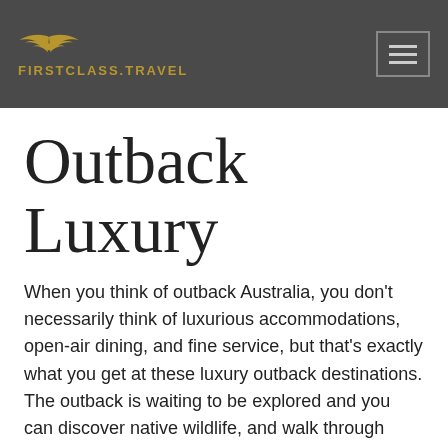FirstClass.Travel
Outback Luxury
When you think of outback Australia, you don't necessarily think of luxurious accommodations, open-air dining, and fine service, but that's exactly what you get at these luxury outback destinations. The outback is waiting to be explored and you can discover native wildlife, and walk through amazing landscapes at your leisure. From the famous Uluru to the northernmost parts of the cape, to the country towns just a few hours from the city, an outback trip offers a unique charm and makes for